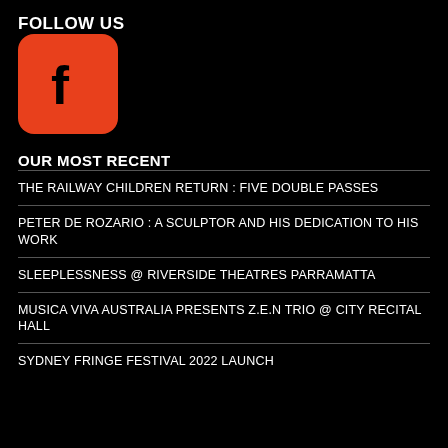FOLLOW US
[Figure (logo): Facebook logo icon — orange/red rounded square with white 'f' letterform]
OUR MOST RECENT
THE RAILWAY CHILDREN RETURN : FIVE DOUBLE PASSES
PETER DE ROZARIO : A SCULPTOR AND HIS DEDICATION TO HIS WORK
SLEEPLESSNESS @ RIVERSIDE THEATRES PARRAMATTA
MUSICA VIVA AUSTRALIA PRESENTS Z.E.N TRIO @ CITY RECITAL HALL
SYDNEY FRINGE FESTIVAL 2022 LAUNCH